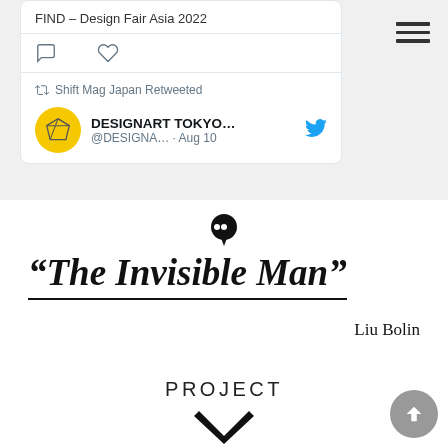FIND – Design Fair Asia 2022
[Figure (screenshot): Twitter/social media embed showing Shift Mag Japan Retweeted from DESIGNART TOKYO... @DESIGNA... · Aug 10, with retweet icon, speech bubble icon, heart icon, and Twitter bird logo. Avatar is a yellow circle with a geometric diamond/arrow shape.]
[Figure (other): Hamburger menu icon (three horizontal lines) in top-right corner]
[Figure (other): Black speech bubble / pixel icon]
“The Invisible Man”
Liu Bolin
PROJECT
[Figure (other): Partial wing or M-shaped decorative element at bottom center]
[Figure (other): Grey circular scroll-to-top button with upward arrow in bottom-right corner]